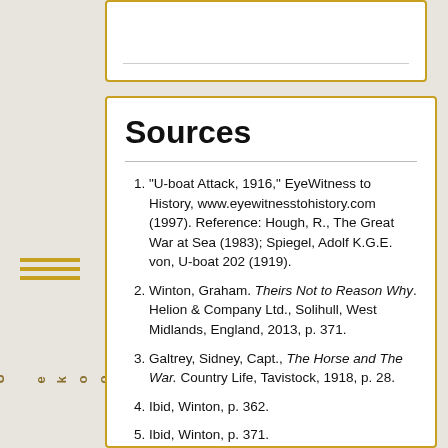Sources
"U-boat Attack, 1916," EyeWitness to History, www.eyewitnesstohistory.com (1997). Reference: Hough, R., The Great War at Sea (1983); Spiegel, Adolf K.G.E. von, U-boat 202 (1919).
Winton, Graham. Theirs Not to Reason Why. Helion & Company Ltd., Solihull, West Midlands, England, 2013, p. 371.
Galtrey, Sidney, Capt., The Horse and The War. Country Life, Tavistock, 1918, p. 28.
Ibid, Winton, p. 362.
Ibid, Winton, p. 371.
Essin, Emmett M. Shavetails & Bell Sharps, University of Nebraska Press, 1997.
Ibid, Galtrey, p. 45.
Erickson, Mark St. John,